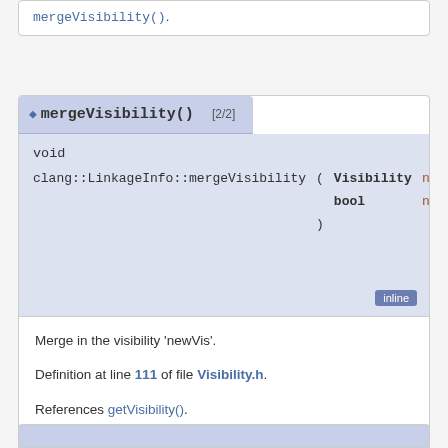mergeVisibility().
◆ mergeVisibility() [2/2]
void
clang::LinkageInfo::mergeVisibility ( Visibility newVis,
 bool newExplicit
 ) inline
Merge in the visibility 'newVis'.
Definition at line 111 of file Visibility.h.
References getVisibility().
Referenced by merge(), mergeMaybeWithVisibility(), and mergeVisibility().